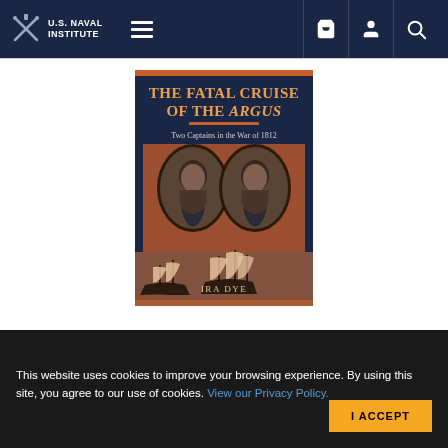U.S. Naval Institute
[Figure (illustration): Book cover for 'The Fatal Cruise of the Argus: Two Captains in the War of 1812' by Ira Dye. Dark navy background with orange/rust accent color. Title text at top, two oval portrait medallions of naval officers in the middle, sailing ships in battle at the bottom.]
This website uses cookies to improve your browsing experience. By using this site, you agree to our use of cookies. View our Privacy Policy.